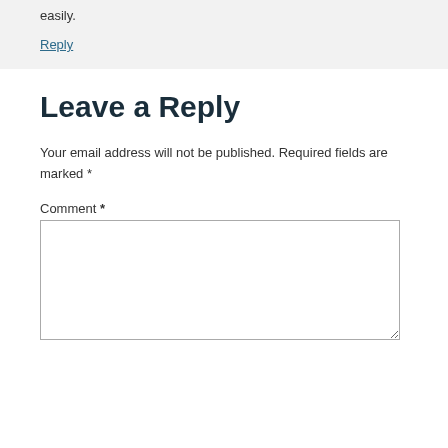easily.
Reply
Leave a Reply
Your email address will not be published. Required fields are marked *
Comment *